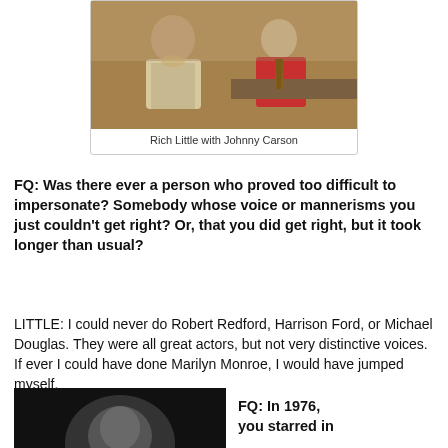[Figure (photo): Black and white / warm-toned vintage photo of Rich Little and Johnny Carson sitting together, laughing, on a talk show set. Little is on the left in a light shirt, Carson is on the right in a red jacket with a tie.]
Rich Little with Johnny Carson
FQ: Was there ever a person who proved too difficult to impersonate? Somebody whose voice or mannerisms you just couldn't get right? Or, that you did get right, but it took longer than usual?
LITTLE: I could never do Robert Redford, Harrison Ford, or Michael Douglas. They were all great actors, but not very distinctive voices. If ever I could have done Marilyn Monroe, I would have jumped myself.
[Figure (photo): Black and white photo of a person, partially visible at bottom of page.]
FQ: In 1976, you starred in